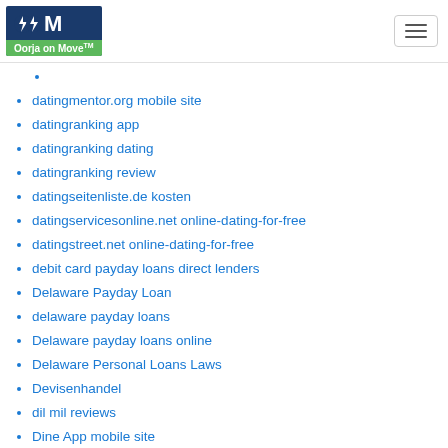Oorja on Move
datingmentor.org mobile site
datingranking app
datingranking dating
datingranking review
datingseitenliste.de kosten
datingservicesonline.net online-dating-for-free
datingstreet.net online-dating-for-free
debit card payday loans direct lenders
Delaware Payday Loan
delaware payday loans
Delaware payday loans online
Delaware Personal Loans Laws
Devisenhandel
dil mil reviews
Dine App mobile site